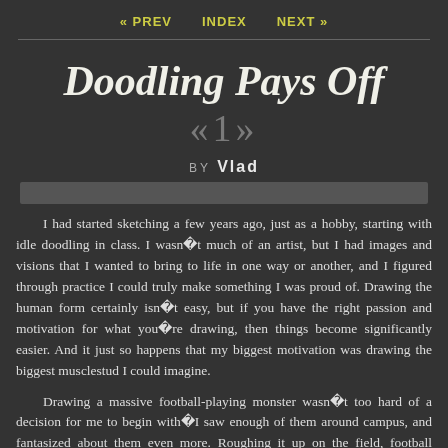« PREV   INDEX   NEXT »
Doodling Pays Off
«1»
BY Vlad
I had started sketching a few years ago, just as a hobby, starting with idle doodling in class. I wasn�t much of an artist, but I had images and visions that I wanted to bring to life in one way or another, and I figured through practice I could truly make something I was proud of. Drawing the human form certainly isn�t easy, but if you have the right passion and motivation for what you�re drawing, then things become significantly easier. And it just so happens that my biggest motivation was drawing the biggest musclestud I could imagine.
Drawing a massive football-playing monster wasn�t too hard of a decision for me to begin with�I saw enough of them around campus, and fantasized about them even more. Roughing it up on the field, football players embodied those perfect masculine qualities that I desired so much�they were huge, muscular and strong without being too self-centered or narcissistic, they had stunning